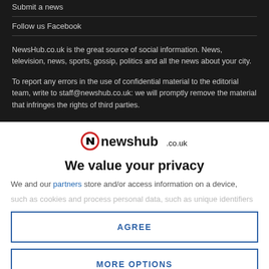Submit a news
Follow us Facebook
NewsHub.co.uk is the great source of social information. News, television, news, sports, gossip, politics and all the news about your city.
To report any errors in the use of confidential material to the editorial team, write to staff@newshub.co.uk: we will promptly remove the material that infringes the rights of third parties.
[Figure (logo): Newshub.co.uk logo with red circular icon]
We value your privacy
We and our partners store and/or access information on a device,
such as cookies and process personal data, such as unique identifiers
AGREE
MORE OPTIONS